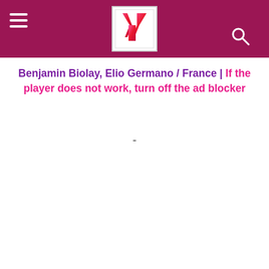Y (logo header with hamburger menu and search icon)
Benjamin Biolay, Elio Germano / France | If the player does not work, turn off the ad blocker
-